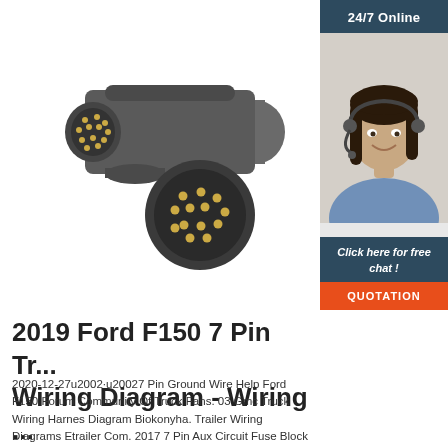[Figure (photo): 13-pin trailer connector plug shown in side view and front face view against white background. Gray plastic housing with gold/brass pin contacts visible.]
[Figure (photo): Advertisement banner: '24/7 Online' in dark blue header, photo of smiling female customer service representative wearing headset, dark blue footer with italic text 'Click here for free chat!', orange QUOTATION button.]
2019 Ford F150 7 Pin Tr... Wiring Diagram - Wiring ...
2020-12-27u2002·u20027 Pin Ground Wire Help Ford F150 Forum Community Of Truck Fans. 03 Gmc Truck Wiring Harnes Diagram Biokonyha. Trailer Wiring Diagrams Etrailer Com. 2017 7 Pin Aux Circuit Fuse Block Number And Amperage